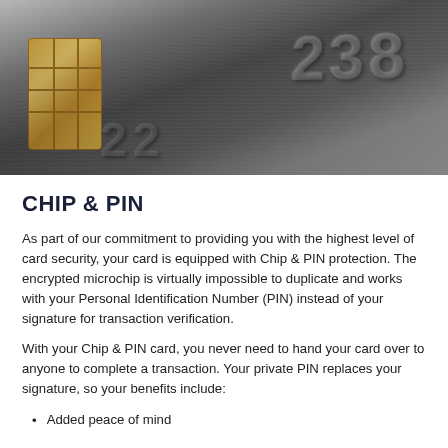[Figure (photo): Close-up macro photograph of a grey/silver EMV chip credit card showing the gold chip on the left and embossed card numbers on the card surface]
CHIP & PIN
As part of our commitment to providing you with the highest level of card security, your card is equipped with Chip & PIN protection. The encrypted microchip is virtually impossible to duplicate and works with your Personal Identification Number (PIN) instead of your signature for transaction verification.
With your Chip & PIN card, you never need to hand your card over to anyone to complete a transaction. Your private PIN replaces your signature, so your benefits include:
Added peace of mind